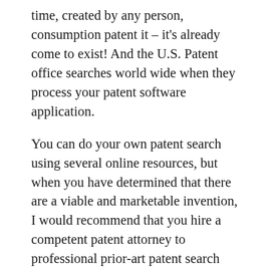time, created by any person, consumption patent it – it's already come to exist! And the U.S. Patent office searches world wide when they process your patent software application.
You can do your own patent search using several online resources, but when you have determined that there are a viable and marketable invention, I would recommend that you hire a competent patent attorney to professional prior-art patent search done, to make sure your idea hasn't already been thought of, wasting your valuable time and money.
I've tried doing patent searches on my own,